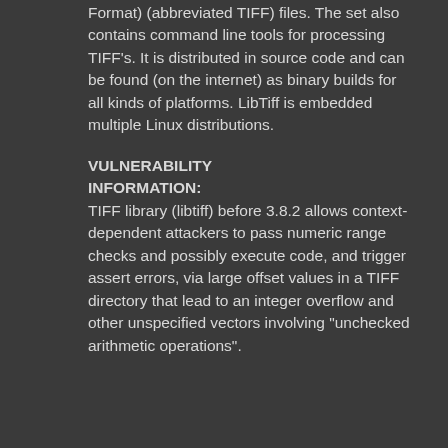Format) (abbreviated TIFF) files. The set also contains command line tools for processing TIFF's. It is distributed in source code and can be found (on the internet) as binary builds for all kinds of platforms. LibTiff is embedded multiple Linux distributions.
VULNERABILITY INFORMATION:
TIFF library (libtiff) before 3.8.2 allows context-dependent attackers to pass numeric range checks and possibly execute code, and trigger assert errors, via large offset values in a TIFF directory that lead to an integer overflow and other unspecified vectors involving "unchecked arithmetic operations".